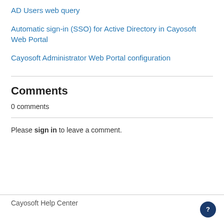AD Users web query
Automatic sign-in (SSO) for Active Directory in Cayosoft Web Portal
Cayosoft Administrator Web Portal configuration
Comments
0 comments
Please sign in to leave a comment.
Cayosoft Help Center